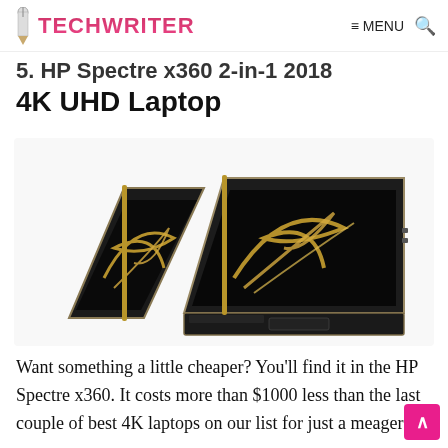TECHWRITER — MENU 🔍
5. HP Spectre x360 2-in-1 2018 4K UHD Laptop
[Figure (photo): HP Spectre x360 2-in-1 laptop shown in two positions: tent mode on the left and flat/open laptop mode on the right, both displaying a gold swirling design on black screens, against a white background.]
Want something a little cheaper? You'll find it in the HP Spectre x360. It costs more than $1000 less than the last couple of best 4K laptops on our list for just a meager d…